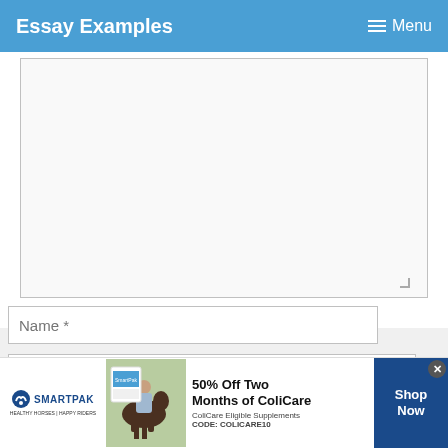Essay Examples  Menu
[Figure (screenshot): Large comment textarea input box, partially filled, with resize handle at bottom right]
Name *
Email *
Website
[Figure (other): SmartPak advertisement banner: 50% Off Two Months of ColiCare, ColiCare Eligible Supplements, CODE: COLICARE10, Shop Now button]